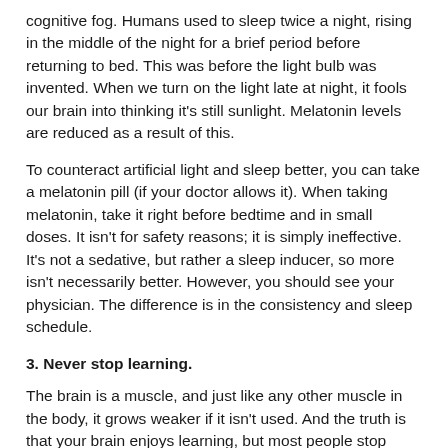cognitive fog. Humans used to sleep twice a night, rising in the middle of the night for a brief period before returning to bed. This was before the light bulb was invented. When we turn on the light late at night, it fools our brain into thinking it's still sunlight. Melatonin levels are reduced as a result of this.
To counteract artificial light and sleep better, you can take a melatonin pill (if your doctor allows it). When taking melatonin, take it right before bedtime and in small doses. It isn't for safety reasons; it is simply ineffective. It's not a sedative, but rather a sleep inducer, so more isn't necessarily better. However, you should see your physician. The difference is in the consistency and sleep schedule.
3. Never stop learning.
The brain is a muscle, and just like any other muscle in the body, it grows weaker if it isn't used. And the truth is that your brain enjoys learning, but most people stop learning after they graduate from high school. Most people are simply "applying" what they already know rather than acquiring new knowledge and pushing their intellect.